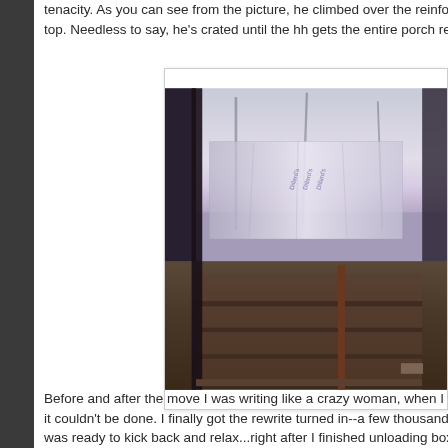tenacity. As you can see from the picture, he climbed over the reinforcem top. Needless to say, he's crated until the hh gets the entire porch reinfor
[Figure (photo): A photograph showing a porch or outdoor enclosure with dark metal bars/frame in the foreground, a plastic bag (appears to be a Dillard's shopping bag) wrapped around the top portion, and a yard with bare trees visible in the background. The image has a purple-tinted, slightly washed-out quality.]
Before and after the move I was writing like a crazy woman, when I wasn it couldn't be done. I finally got the rewrite turned in--a few thousand wor was ready to kick back and relax...right after I finished unloading boxes.